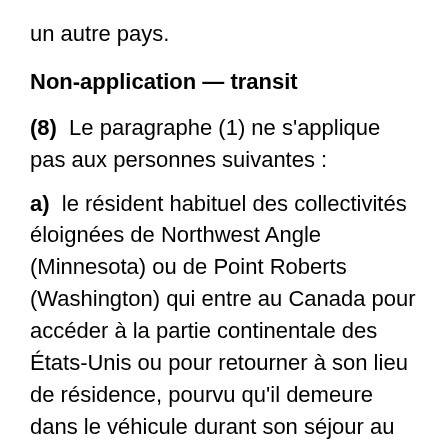un autre pays.
Non-application — transit
(8)  Le paragraphe (1) ne s'applique pas aux personnes suivantes :
a)  le résident habituel des collectivités éloignées de Northwest Angle (Minnesota) ou de Point Roberts (Washington) qui entre au Canada pour accéder à la partie continentale des États-Unis ou pour retourner à son lieu de résidence, pourvu qu'il demeure dans le véhicule durant son séjour au Canada et, le cas échéant, qu'aucune autre personne à bord